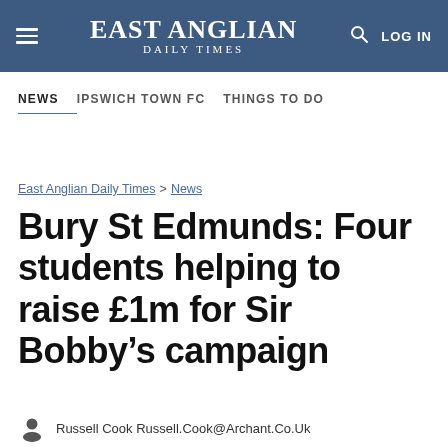EAST ANGLIAN DAILY TIMES | LOG IN
NEWS | IPSWICH TOWN FC | THINGS TO DO
East Anglian Daily Times > News
Bury St Edmunds: Four students helping to raise £1m for Sir Bobby’s campaign
Russell Cook Russell.Cook@Archant.Co.Uk